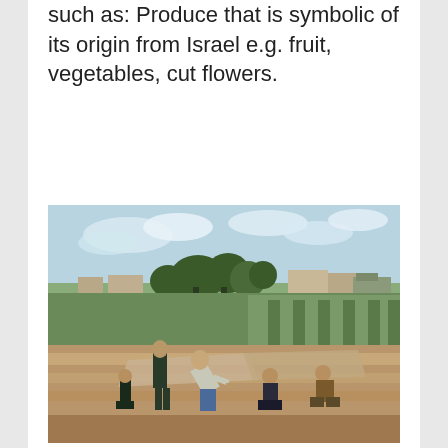such as: Produce that is symbolic of its origin from Israel e.g. fruit, vegetables, cut flowers.
[Figure (photo): Photograph of several people, including children, working in an agricultural field. They appear to be laying or handling plastic sheeting over crop rows. The field has green plants in rows and sandy/brown soil. Trees and low buildings are visible in the background under a partly cloudy sky.]